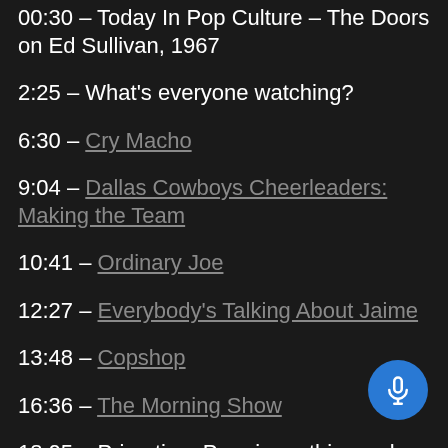00:30 – Today In Pop Culture – The Doors on Ed Sullivan, 1967
2:25 – What's everyone watching?
6:30 – Cry Macho
9:04 – Dallas Cowboys Cheerleaders: Making the Team
10:41 – Ordinary Joe
12:27 – Everybody's Talking About Jaime
13:48 – Copshop
16:36 – The Morning Show
18:05 – Primetime Premieres this week – The Emmys, Dancing with the Stars, etc.